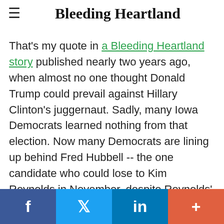Bleeding Heartland
That's my quote in a Bleeding Heartland story published nearly two years ago, when almost no one thought Donald Trump could prevail against Hillary Clinton's juggernaut. Sadly, many Iowa Democrats learned nothing from that election. Now many Democrats are lining up behind Fred Hubbell -- the one candidate who could lose to Kim Reynolds in November, despite Reynolds' extreme vulnerability.